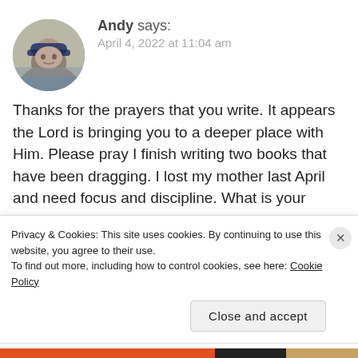[Figure (photo): Circular avatar photo of a man wearing a blue cap, outdoors near water]
Andy says:
April 4, 2022 at 11:04 am
Thanks for the prayers that you write. It appears the Lord is bringing you to a deeper place with Him. Please pray I finish writing two books that have been dragging. I lost my mother last April and need focus and discipline. What is your name by the way?
Andy Provitola
Privacy & Cookies: This site uses cookies. By continuing to use this website, you agree to their use.
To find out more, including how to control cookies, see here: Cookie Policy
Close and accept